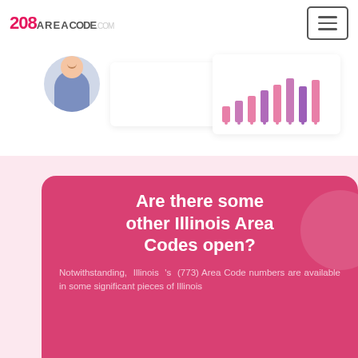208 AREACODE.COM
[Figure (screenshot): Person avatar with blue shirt and white card with bar chart showing pink/purple bars]
Are there some other Illinois Area Codes open?
Notwithstanding, Illinois 's (773) Area Code numbers are available in some significant pieces of Illinois